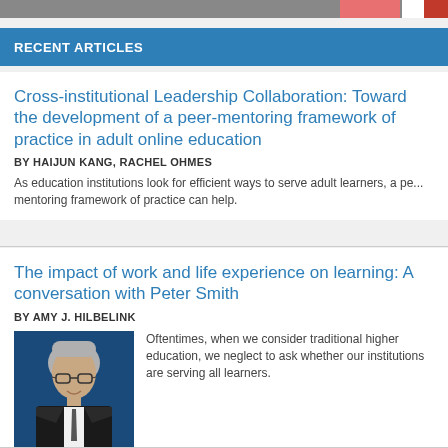RECENT ARTICLES
Cross-institutional Leadership Collaboration: Toward the development of a peer-mentoring framework of practice in adult online education
BY HAIJUN KANG, RACHEL OHMES
As education institutions look for efficient ways to serve adult learners, a peer-mentoring framework of practice can help.
The impact of work and life experience on learning: A conversation with Peter Smith
BY AMY J. HILBELINK
[Figure (photo): Headshot photo of Peter Smith, a man with glasses wearing a dark suit and light shirt with tie, against a blue background]
Oftentimes, when we consider traditional higher education, we neglect to ask whether our institutions are serving all learners.